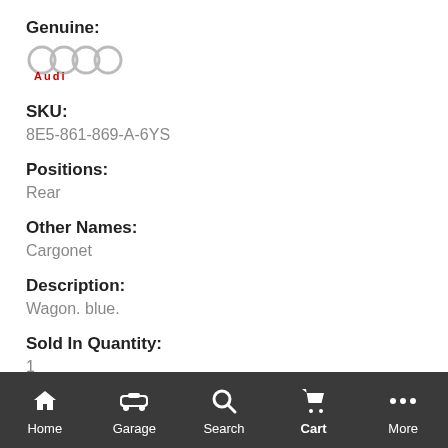Genuine:
[Figure (logo): Audi logo with four interlocking rings and red 'Audi' text below]
SKU:
8E5-861-869-A-6YS
Positions:
Rear
Other Names:
Cargonet
Description:
Wagon. blue.
Sold In Quantity:
1
ALSO PURCHASED
Home  Garage  Search  Cart  More